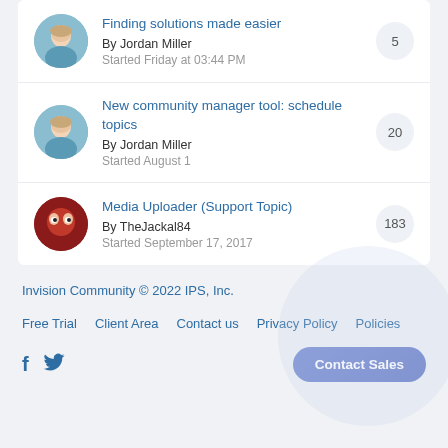Finding solutions made easier
By Jordan Miller
Started Friday at 03:44 PM
5
New community manager tool: schedule topics
By Jordan Miller
Started August 1
20
Media Uploader (Support Topic)
By TheJackal84
Started September 17, 2017
183
Invision Community © 2022 IPS, Inc.
Free Trial  Client Area  Contact us  Privacy Policy  Policies